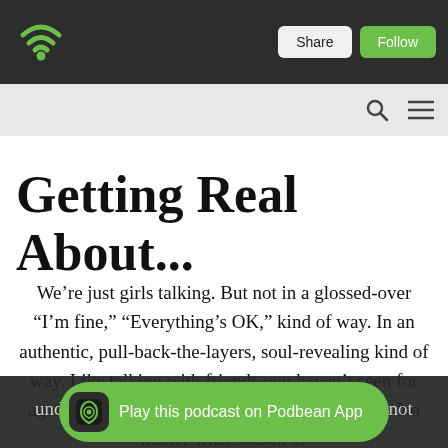[Figure (screenshot): Podbean app top navigation bar with green wifi/podcast logo on left and Share and Follow buttons on right]
Getting Real About...
We’re just girls talking. But not in a glossed-over “I’m fine,” “Everything’s OK,” kind of way. In an authentic, pull-back-the-layers, soul-revealing kind of way. Like talking with friends you haven’t seen for ages, but easily pick up right where you left off. No matter what season or understanding and the reassurance that you’re not alone in
[Figure (screenshot): Play this podcast on Podbean App button bar at bottom]